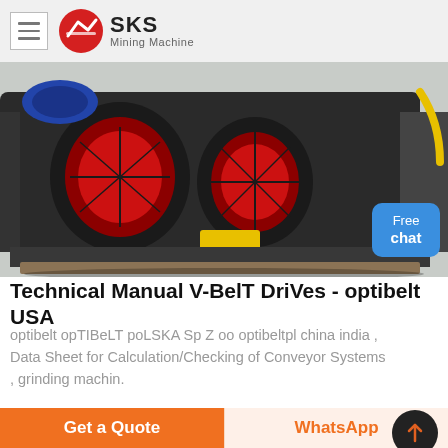SKS Mining Machine
[Figure (photo): Industrial mining crusher / jaw crusher machine viewed from rear, showing red mesh guards and yellow safety component on dark pallet]
[Figure (photo): Close-up of mining machine mechanical components in dark background with bolt/shaft detail]
Technical Manual V-BelT DriVes - optibelt USA
optibelt opTIBeLT poLSKA Sp Z oo optibeltpl china india , Data Sheet for Calculation/Checking of Conveyor Systems , grinding machin.
Get a Quote
WhatsApp